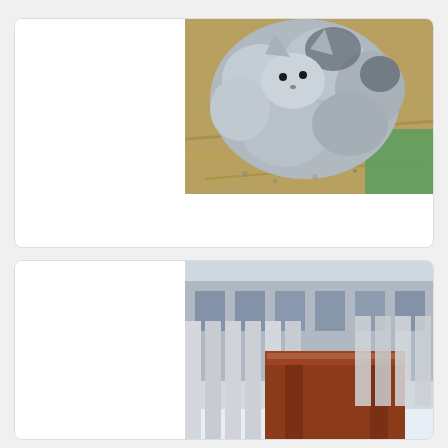[Figure (photo): A grey fluffy stuffed animal cat toy photographed outdoors on straw/hay with green fabric visible, close-up view from above.]
Found: Grey Kitty Stuffie
Vernon |
[Figure (photo): Photo showing wooden fence slats and a reddish-brown wooden surface or chair, partially visible, outdoors in winter/snow conditions.]